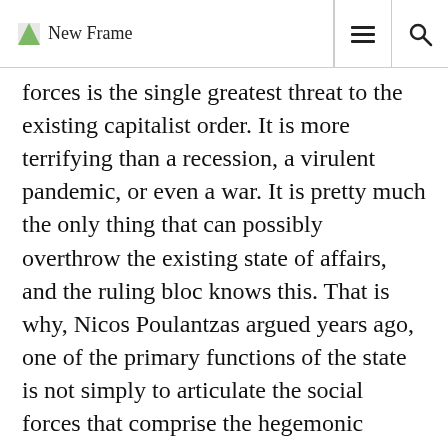New Frame
forces is the single greatest threat to the existing capitalist order. It is more terrifying than a recession, a virulent pandemic, or even a war. It is pretty much the only thing that can possibly overthrow the existing state of affairs, and the ruling bloc knows this. That is why, Nicos Poulantzas argued years ago, one of the primary functions of the state is not simply to articulate the social forces that comprise the hegemonic ruling bloc, but also to ruthlessly disarticulate all oppositional social forces.
RELATED ARTICLE: